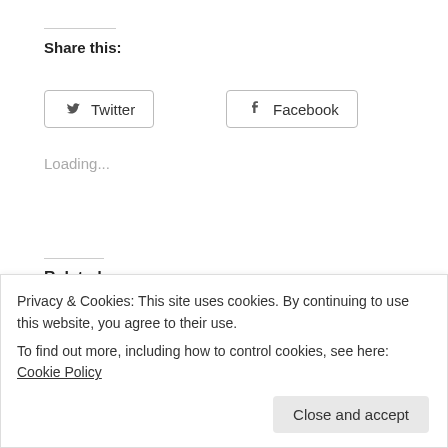Share this:
Twitter
Facebook
Loading...
Related
Mass Dampners For the Soul
March 23, 2007
Driver Go-Roun driver system.
May 22, 2006
Privacy & Cookies: This site uses cookies. By continuing to use this website, you agree to their use.
To find out more, including how to control cookies, see here: Cookie Policy
Close and accept